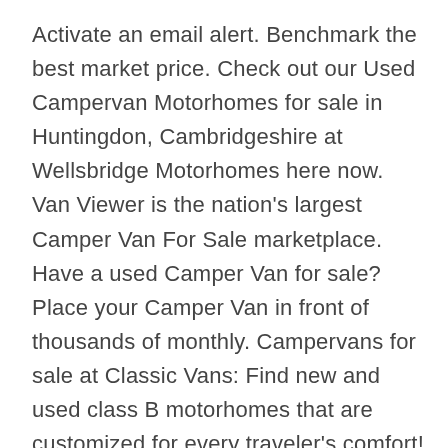Activate an email alert. Benchmark the best market price. Check out our Used Campervan Motorhomes for sale in Huntingdon, Cambridgeshire at Wellsbridge Motorhomes here now. Van Viewer is the nation's largest Camper Van For Sale marketplace. Have a used Camper Van for sale? Place your Camper Van in front of thousands of monthly. Campervans for sale at Classic Vans: Find new and used class B motorhomes that are customized for every traveler's comfort! Our custom camper vans for sale. Oct 23,  · Whether you're looking for the perfect vehicle for full-time van living, or a modest rig for weekend excursions, buying used camper vans for sale by owner is one of the best ways to get exactly what you want.. Buying any used vehicle can be intimidating and frustrating. Looking for a used camper van can be especially stressful, particularly if you plan on living in. £13, For Sale FORD GRAND TOURNEO CONNECT MICRO